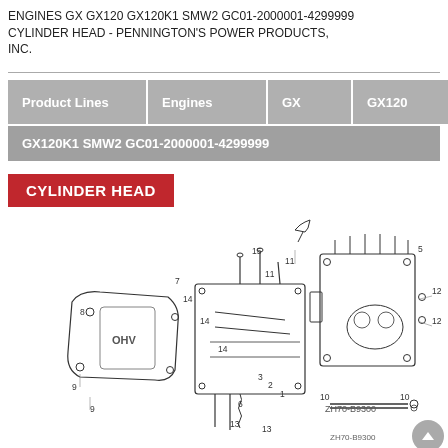ENGINES GX GX120 GX120K1 SMW2 GC01-2000001-4299999 CYLINDER HEAD - PENNINGTON'S POWER PRODUCTS, INC.
[Figure (engineering-diagram): Exploded parts diagram of a Honda GX120 cylinder head assembly, showing numbered components including valve cover (labeled OHV), cylinder head block, bolts, gaskets, valves, springs, and related hardware. Part numbers 1-15 visible with leader lines.]
ZH70-B9300